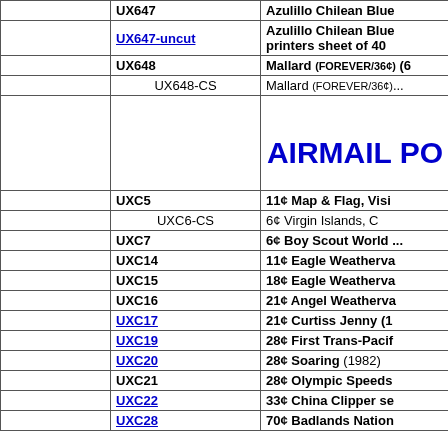|  | Code | Description |
| --- | --- | --- |
|  | UX647 | Azulillo Chilean Blue |
|  | UX647-uncut | Azulillo Chilean Blue printers sheet of 40 |
|  | UX648 | Mallard (FOREVER/36¢) (6... |
|  | UX648-CS | Mallard (FOREVER/36¢)... |
|  |  | AIRMAIL PO... |
|  | UXC5 | 11¢ Map & Flag, Visi... |
|  | UXC6-CS | 6¢ Virgin Islands, C... |
|  | UXC7 | 6¢ Boy Scout World ... |
|  | UXC14 | 11¢ Eagle Weatherva... |
|  | UXC15 | 18¢ Eagle Weatherva... |
|  | UXC16 | 21¢ Angel Weatherva... |
|  | UXC17 | 21¢ Curtiss Jenny (1... |
|  | UXC19 | 28¢ First Trans-Pacif... |
|  | UXC20 | 28¢ Soaring (1982) |
|  | UXC21 | 28¢ Olympic Speeds... |
|  | UXC22 | 33¢ China Clipper se... |
|  | UXC28 | 70¢ Badlands Nation... |